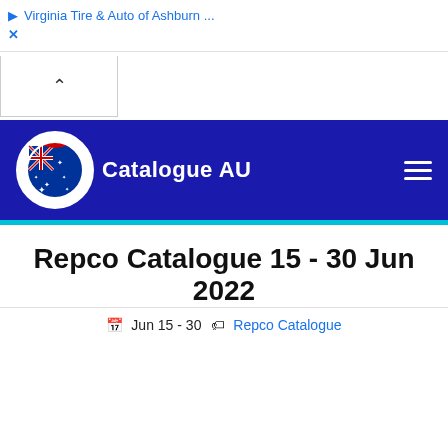Virginia Tire & Auto of Ashburn ...
[Figure (logo): Catalogue AU logo with circular emblem and site name 'Catalogue AU' on dark blue navigation bar]
Repco Catalogue 15 - 30 Jun 2022
Jun 15 - 30  Repco Catalogue